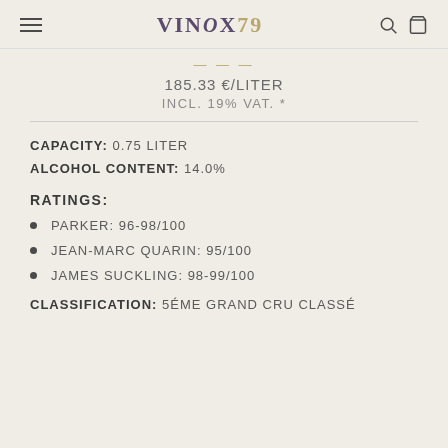VINOX79
185.33 €/LITER
INCL. 19% VAT. *
CAPACITY: 0.75 LITER
ALCOHOL CONTENT: 14.0%
RATINGS:
PARKER: 96-98/100
JEAN-MARC QUARIN: 95/100
JAMES SUCKLING: 98-99/100
CLASSIFICATION: 5ÉME GRAND CRU CLASSÉ